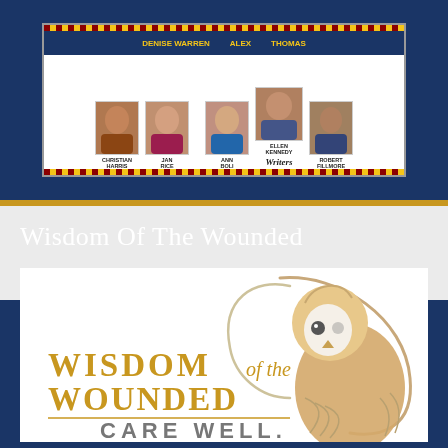[Figure (illustration): A panel showing multiple writer headshots with names below each photo, on a dark blue background with gold/red decorative border. Names include Christian Harris, Jan Rice, Ann Boli, Ellen Kennedy (Writers), Robert Fillmore.]
Wisdom Of The Wounded
[Figure (logo): Wisdom of the Wounded logo featuring an illustrated barn owl in gold/tan tones, with text: WISDOM of the WOUNDED / CARE WELL.]